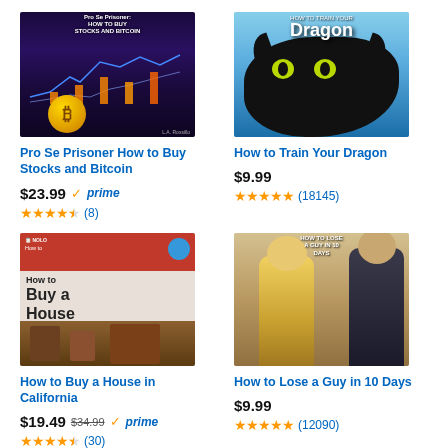[Figure (illustration): Book cover: Pro Se Prisoner How to Buy Stocks and Bitcoin - dark purple background with bitcoin coins and stock chart]
[Figure (illustration): Movie cover: How to Train Your Dragon - blue sky background with black dragon face showing yellow-green eyes]
Pro Se Prisoner How to Buy Stocks and Bitcoin
$23.99 ✓prime
★★★★½ (8)
How to Train Your Dragon
$9.99
★★★★★ (18145)
[Figure (illustration): Book cover: How to Buy a House in California - Nolo press book with red top bar and interior photo]
[Figure (illustration): Movie cover: How to Lose a Guy in 10 Days - tan/gold background with two figures]
How to Buy a House in California
$19.49 $34.99 ✓prime
★★★★½ (30)
How to Lose a Guy in 10 Days
$9.99
★★★★★ (12090)